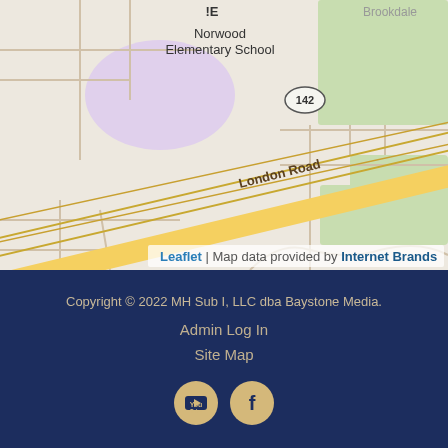[Figure (map): Street map showing Norwood Elementary School area with London Road (Route 142) running diagonally, green park areas in top-right and bottom-right, and Brookdale label visible at top-right]
Leaflet | Map data provided by Internet Brands
Copyright © 2022 MH Sub I, LLC dba Baystone Media.
Admin Log In
Site Map